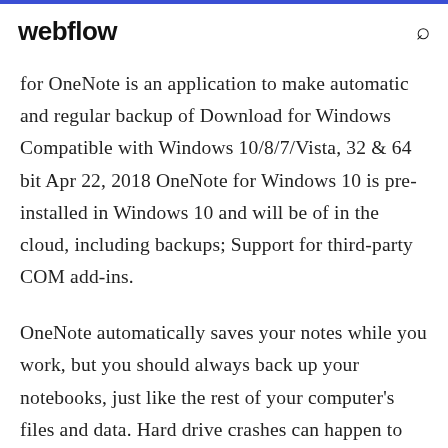webflow
for OneNote is an application to make automatic and regular backup of Download for Windows Compatible with Windows 10/8/7/Vista, 32 & 64 bit Apr 22, 2018 OneNote for Windows 10 is pre-installed in Windows 10 and will be of in the cloud, including backups; Support for third-party COM add-ins.
OneNote automatically saves your notes while you work, but you should always back up your notebooks, just like the rest of your computer's files and data. Hard drive crashes can happen to anyone, and if it happens to you, your notes will be gone forever. If you back up your